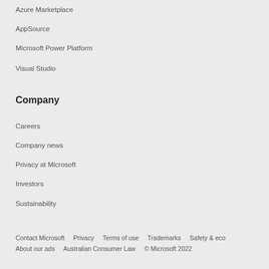Azure Marketplace
AppSource
Microsoft Power Platform
Visual Studio
Company
Careers
Company news
Privacy at Microsoft
Investors
Sustainability
Contact Microsoft    Privacy    Terms of use    Trademarks    Safety & eco    About our ads    Australian Consumer Law    © Microsoft 2022